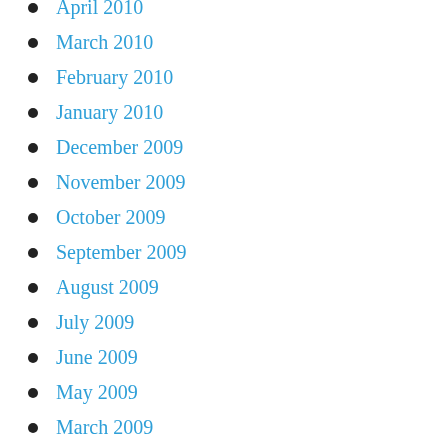April 2010
March 2010
February 2010
January 2010
December 2009
November 2009
October 2009
September 2009
August 2009
July 2009
June 2009
May 2009
March 2009
February 2009
January 2009
December 2008
November 2008